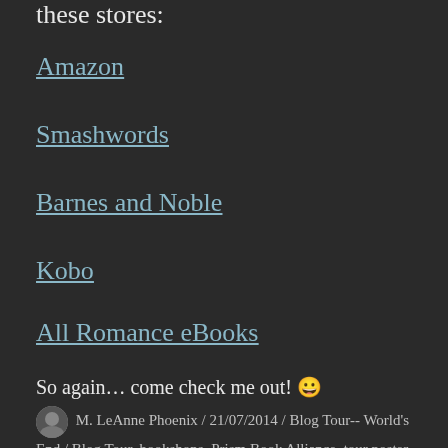these stores:
Amazon
Smashwords
Barnes and Noble
Kobo
All Romance eBooks
So again… come check me out! 😀
M. LeAnne Phoenix / 21/07/2014 / Blog Tour-- World's End / Blog Tour, bookshops, Prism Book Alliance, tour poster, very happy, World's End / Leave a